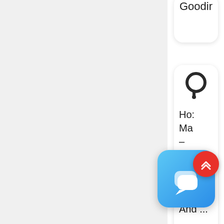[Figure (screenshot): Partially visible white rounded card showing text 'Goodir' at top right of page]
[Figure (screenshot): White rounded card with hose/cable icon and product text: 'Hose Ma - Layfla: Hoses, South Africa And ... Hose Manuf']
[Figure (screenshot): Blue chat popup overlay with speech bubble icons and X close button]
[Figure (screenshot): Red circular scroll-to-top button with double chevron up icon]